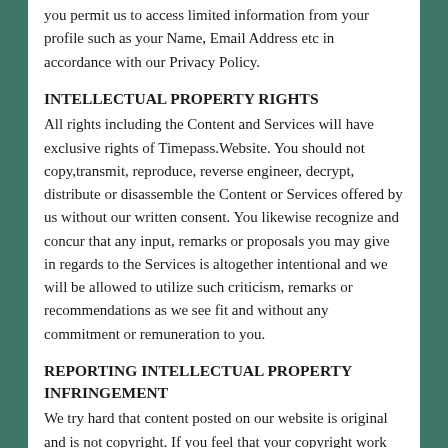you permit us to access limited information from your profile such as your Name, Email Address etc in accordance with our Privacy Policy.
INTELLECTUAL PROPERTY RIGHTS
All rights including the Content and Services will have exclusive rights of Timepass.Website. You should not copy,transmit, reproduce, reverse engineer, decrypt, distribute or disassemble the Content or Services offered by us without our written consent. You likewise recognize and concur that any input, remarks or proposals you may give in regards to the Services is altogether intentional and we will be allowed to utilize such criticism, remarks or recommendations as we see fit and without any commitment or remuneration to you.
REPORTING INTELLECTUAL PROPERTY INFRINGEMENT
We try hard that content posted on our website is original and is not copyright. If you feel that your copyright work has been copied and posted in such a way that it leads to copyright